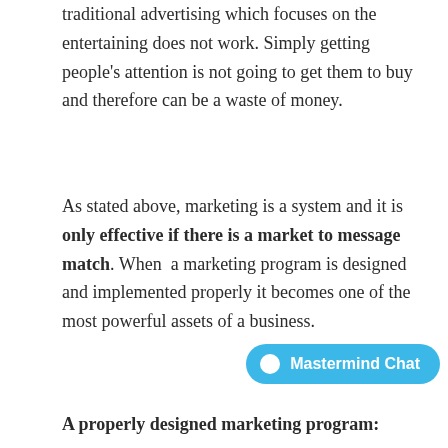traditional advertising which focuses on the entertaining does not work. Simply getting people's attention is not going to get them to buy and therefore can be a waste of money.
As stated above, marketing is a system and it is only effective if there is a market to message match. When a marketing program is designed and implemented properly it becomes one of the most powerful assets of a business.
A properly designed marketing program: